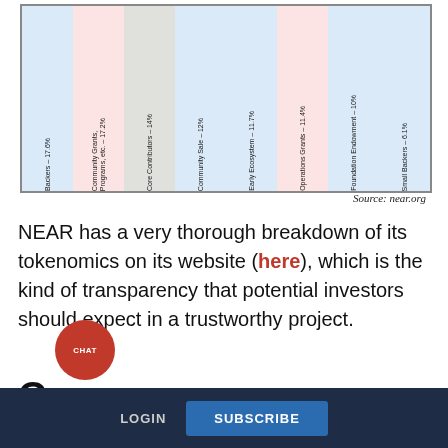[Figure (bar-chart): NEAR Tokenomics Distribution]
Source: near.org
NEAR has a very thorough breakdown of its tokenomics on its website (here), which is the kind of transparency that potential investors should expect in a trustworthy project.
Governance